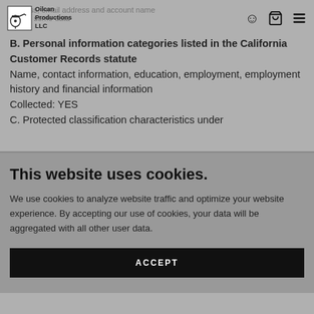Oilcan Productions LLC - Navigation bar with logo, cart and menu icons
address, email address and account name
collect some data
B. Personal information categories listed in the California Customer Records statute
Name, contact information, education, employment, employment history and financial information
Collected: YES
C. Protected classification characteristics under
This website uses cookies.
We use cookies to analyze website traffic and optimize your website experience. By accepting our use of cookies, your data will be aggregated with all other user data.
ACCEPT